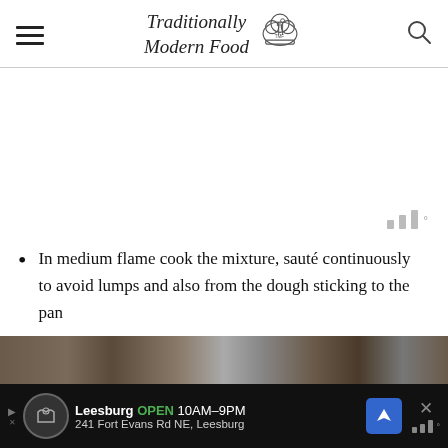Traditionally Modern Food
In medium flame cook the mixture, sauté continuously to avoid lumps and also from the dough sticking to the pan
[Figure (photo): Partial view of food preparation photo at the bottom of the page]
Leesburg OPEN 10AM–9PM 241 Fort Evans Rd NE, Leesburg